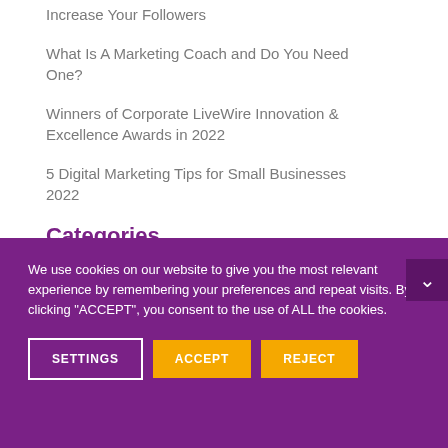Increase Your Followers
What Is A Marketing Coach and Do You Need One?
Winners of Corporate LiveWire Innovation & Excellence Awards in 2022
5 Digital Marketing Tips for Small Businesses 2022
Categories
We use cookies on our website to give you the most relevant experience by remembering your preferences and repeat visits. By clicking "ACCEPT", you consent to the use of ALL the cookies.